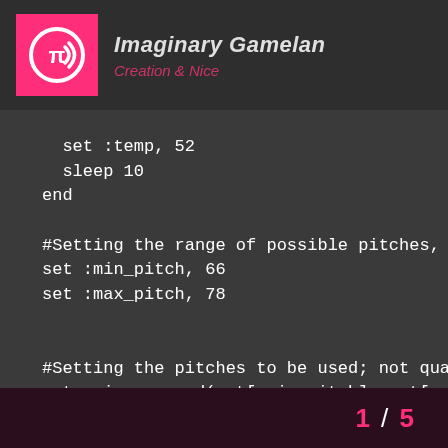Imaginary Gamelan
Creation & Nice
set :temp, 52
  sleep 10
end

#Setting the range of possible pitches, in this
set :min_pitch, 66
set :max_pitch, 78


#Setting the pitches to be used; not quantized
set :eins, rrand(get[:min_pitch], get[:max_pitc
set :zwei, rrand(get[:min_pitch], get[:max_pitc
set :drei, rrand(get[:min_pitch], get[:max_pitc
set :vier, rrand(get[:min_pitch], get[:max_pitc
set :fünf, rrand(get[:min_pitch], get[:max_pitc
1 / 5